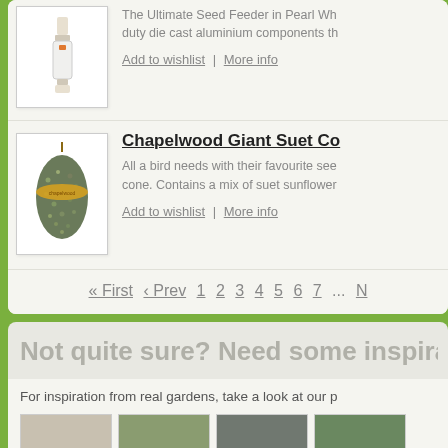[Figure (photo): Product image of a white seed feeder on white background]
The Ultimate Seed Feeder in Pearl Wh... duty die cast aluminium components th...
Add to wishlist | More info
[Figure (photo): Product image of a Chapelwood Giant Suet Cone with seeds]
Chapelwood Giant Suet Co...
All a bird needs with their favourite see... cone. Contains a mix of suet sunflower...
Add to wishlist | More info
« First ‹ Prev 1 2 3 4 5 6 7 ... N
Not quite sure? Need some inspirat...
For inspiration from real gardens, take a look at our p...
[Figure (photo): Garden inspiration thumbnail 1]
[Figure (photo): Garden inspiration thumbnail 2]
[Figure (photo): Garden inspiration thumbnail 3]
[Figure (photo): Garden inspiration thumbnail 4]